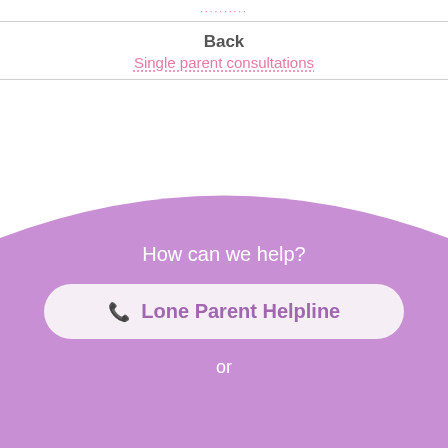..........
Back
Single parent consultations
[Figure (screenshot): Mobile app UI with a purple curved background section at the bottom]
How can we help?
Lone Parent Helpline
or